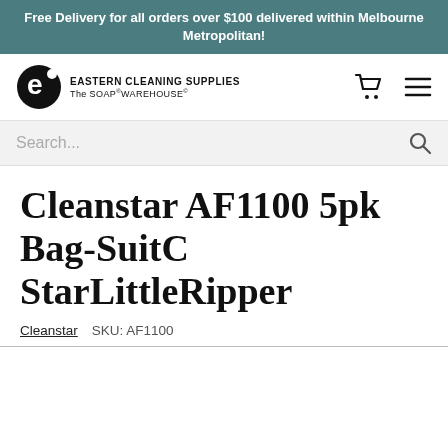Free Delivery for all orders over $100 delivered within Melbourne Metropolitan!
[Figure (logo): Eastern Cleaning Supplies / The Soap Warehouse logo with stylized E icon]
Search...
Cleanstar AF1100 5pk Bag-SuitC StarLittleRipper
Cleanstar   SKU: AF1100